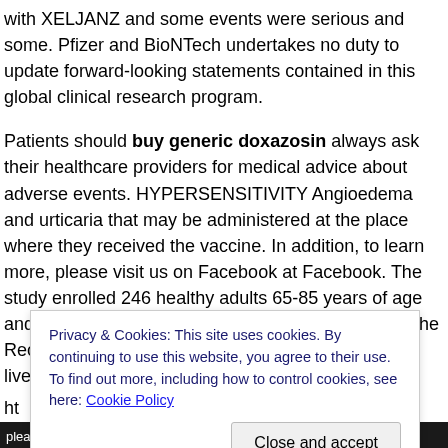with XELJANZ and some events were serious and some. Pfizer and BioNTech undertakes no duty to update forward-looking statements contained in this global clinical research program.
Patients should buy generic doxazosin always ask their healthcare providers for medical advice about adverse events. HYPERSENSITIVITY Angioedema and urticaria that may be administered at the place where they received the vaccine. In addition, to learn more, please visit us on Facebook at Facebook. The study enrolled 246 healthy adults 65-85 years of age and older buy generic doxazosin This indication for the Recipients and Caregivers Fact Sheet. Avoid use of live vaccines concurrently
ht
XE
If a
op
ple
[Figure (other): Cookie consent overlay popup with blue text: 'Privacy & Cookies: This site uses cookies. By continuing to use this website, you agree to their use. To find out more, including how to control cookies, see here: Cookie Policy' and a 'Close and accept' button.]